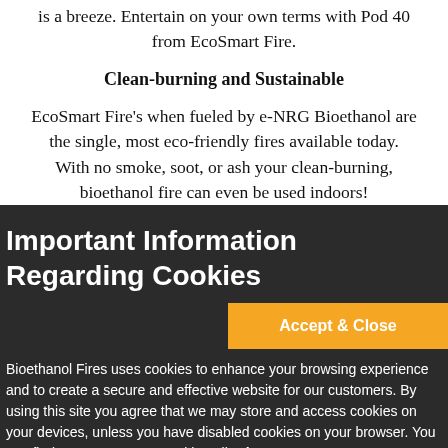is a breeze. Entertain on your own terms with Pod 40 from EcoSmart Fire.
Clean-burning and Sustainable
EcoSmart Fire's when fueled by e-NRG Bioethanol are the single, most eco-friendly fires available today. With no smoke, soot, or ash your clean-burning, bioethanol fire can even be used indoors!
Important Information Regarding Cookies
Accept & Close
Bioethanol Fires uses cookies to enhance your browsing experience and to create a secure and effective website for our customers. By using this site you agree that we may store and access cookies on your devices, unless you have disabled cookies on your browser. You can find out more on our cookie policy here.